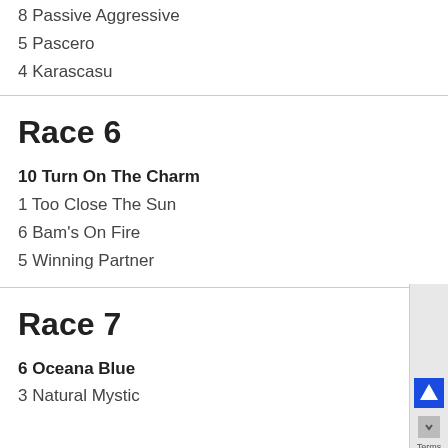8 Passive Aggressive
5 Pascero
4 Karascasu
Race 6
10 Turn On The Charm
1 Too Close The Sun
6 Bam's On Fire
5 Winning Partner
Race 7
6 Oceana Blue
3 Natural Mystic